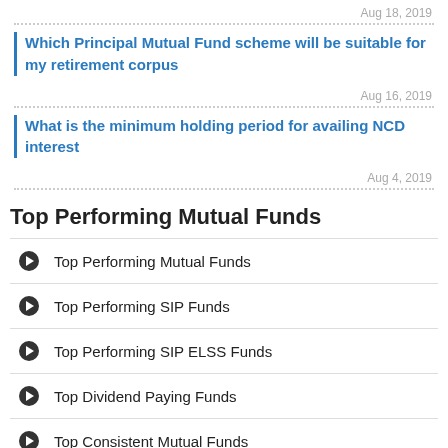Aug 18, 2019
Which Principal Mutual Fund scheme will be suitable for my retirement corpus
Aug 16, 2019
What is the minimum holding period for availing NCD interest
Aug 4, 2019
Top Performing Mutual Funds
Top Performing Mutual Funds
Top Performing SIP Funds
Top Performing SIP ELSS Funds
Top Dividend Paying Funds
Top Consistent Mutual Funds